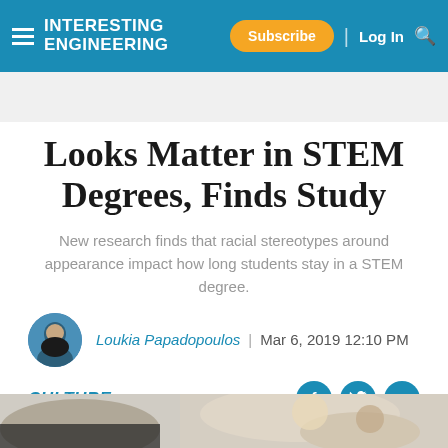Interesting Engineering — Subscribe | Log In
Looks Matter in STEM Degrees, Finds Study
New research finds that racial stereotypes around appearance impact how long students stay in a STEM degree.
Loukia Papadopoulos | Mar 6, 2019 12:10 PM
CULTURE
[Figure (photo): Partial bottom image strip showing students or related photo]